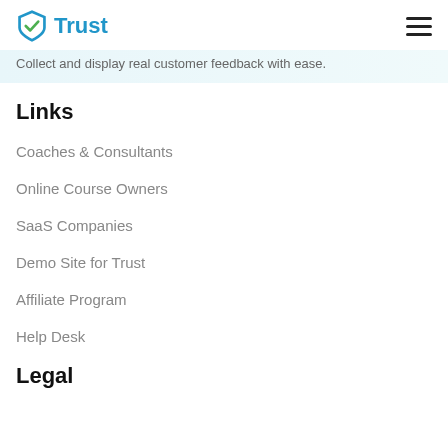Trust
Collect and display real customer feedback with ease.
Links
Coaches & Consultants
Online Course Owners
SaaS Companies
Demo Site for Trust
Affiliate Program
Help Desk
Legal